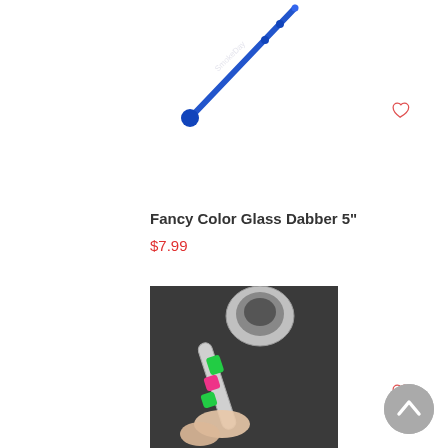[Figure (photo): Blue glass dabber tool on white background, diagonal orientation]
Fancy Color Glass Dabber 5"
$7.99
[Figure (photo): Hand holding a colorful glass oil burner pipe with green and pink design, dark background]
Growing in Dark Colorful Glass Design Oil Burner Pipe
$15.99